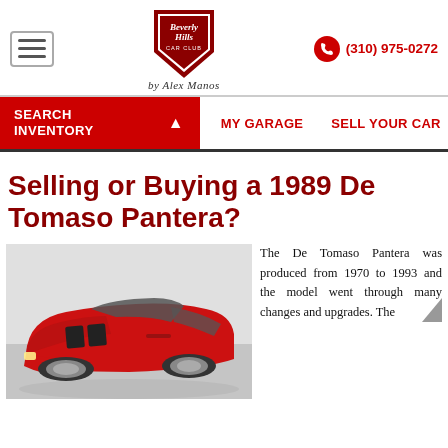Beverly Hills Car Club by Alex Manos | (310) 975-0272
SEARCH INVENTORY | MY GARAGE | SELL YOUR CAR
Selling or Buying a 1989 De Tomaso Pantera?
[Figure (photo): Red De Tomaso Pantera sports car photographed from the front-left angle in a studio/garage setting]
The De Tomaso Pantera was produced from 1970 to 1993 and the model went through many changes and upgrades. The